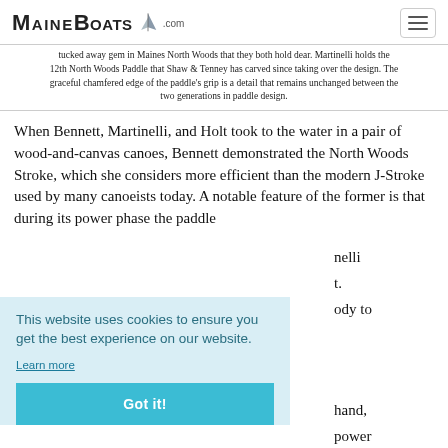MAINEBOATS.COM
tucked away gem in Maines North Woods that they both hold dear. Martinelli holds the 12th North Woods Paddle that Shaw & Tenney has carved since taking over the design. The graceful chamfered edge of the paddle's grip is a detail that remains unchanged between the two generations in paddle design.
When Bennett, Martinelli, and Holt took to the water in a pair of wood-and-canvas canoes, Bennett demonstrated the North Woods Stroke, which she considers more efficient than the modern J-Stroke used by many canoeists today. A notable feature of the former is that during its power phase the paddle
nelli
t.
ody to
hand,
power
Bennett, after several years of using only hand tools, added a
This website uses cookies to ensure you get the best experience on our website. Learn more
Got it!